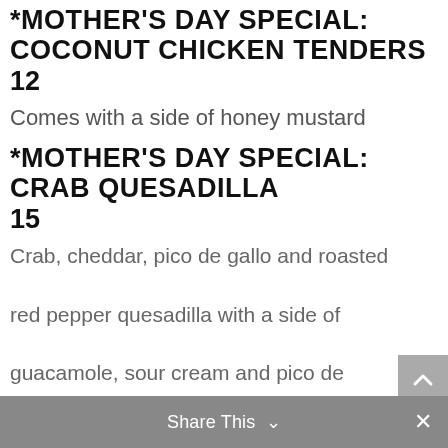*MOTHER'S DAY SPECIAL: COCONUT CHICKEN TENDERS
12
Comes with a side of honey mustard
*MOTHER'S DAY SPECIAL: CRAB QUESADILLA
15
Crab, cheddar, pico de gallo and roasted red pepper quesadilla with a side of guacamole, sour cream and pico de gallo
SEARED AHI TUNA*
14
Share This ∨  ×